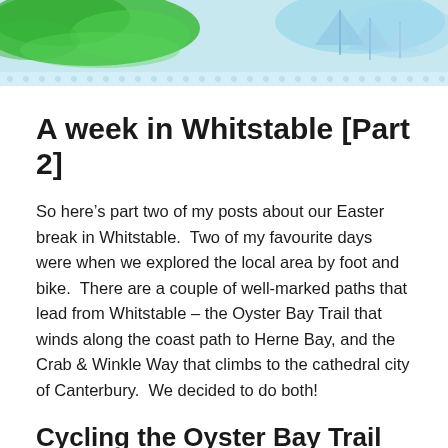[Figure (illustration): Decorative header banner with a green watercolour blob on the left and a blue watercolour coastal/sailing illustration on the right, on a light blue background with a dotted strip below.]
A week in Whitstable [Part 2]
So here’s part two of my posts about our Easter break in Whitstable.  Two of my favourite days were when we explored the local area by foot and bike.  There are a couple of well-marked paths that lead from Whitstable – the Oyster Bay Trail that winds along the coast path to Herne Bay, and the Crab & Winkle Way that climbs to the cathedral city of Canterbury.  We decided to do both!
Cycling the Oyster Bay Trail to Herne Bay